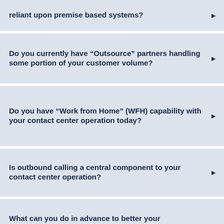reliant upon premise based systems?
Do you currently have “Outsource” partners handling some portion of your customer volume?
Do you have “Work from Home” (WFH) capability with your contact center operation today?
Is outbound calling a central component to your contact center operation?
What can you do in advance to better your technological situation should you be faced with an extended outage?